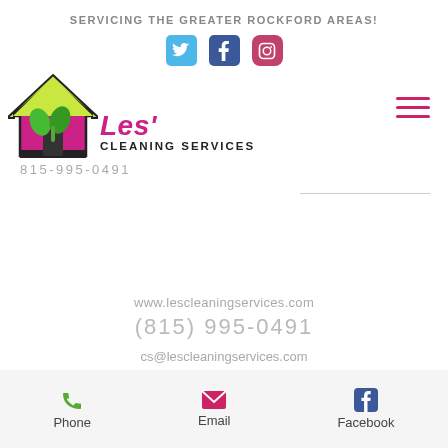SERVICING THE GREATER ROCKFORD AREAS!
[Figure (logo): Social media icons: Twitter (blue bird), Facebook (blue f), Instagram (pink camera)]
[Figure (logo): Les' Cleaning Services logo — pink house with green leaves, company name in bold pink italic 'Les'' and black bold text 'CLEANING SERVICES']
815-995-0491
www.lescleaningservices.com
(815) 995-0491
cs@lescleaningservices.com
[Figure (infographic): Bottom contact bar with Phone (green phone icon), Email (pink envelope icon), Facebook (blue Facebook icon)]